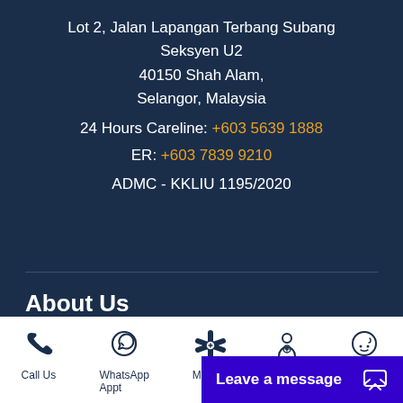Lot 2, Jalan Lapangan Terbang Subang
Seksyen U2
40150 Shah Alam,
Selangor, Malaysia
24 Hours Careline: +603 5639 1888
ER: +603 7839 9210
ADMC - KKLIU 1195/2020
About Us
Welcome to Ara Damansara Medical Centre
Call Us
WhatsApp Appt
Leave a message